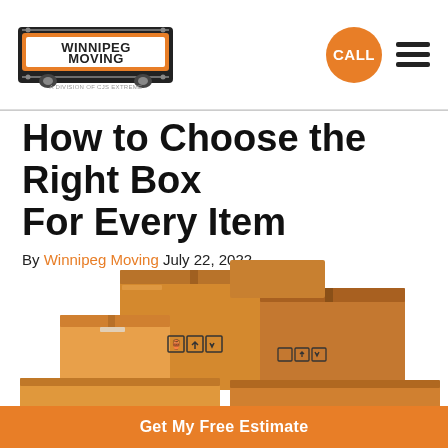Winnipeg Moving — CALL [navigation]
How to Choose the Right Box For Every Item
By Winnipeg Moving July 22, 2022
[Figure (illustration): Stack of cardboard moving boxes with shipping symbols (fragile, this way up) illustrated in orange and brown tones]
Get My Free Estimate